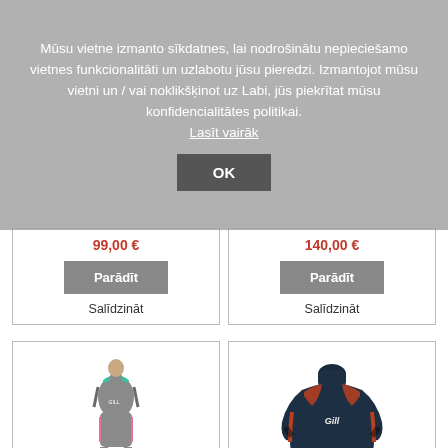Mūsu vietne izmanto sīkdatnes, lai nodrošinātu nepieciešamo vietnes funkcionalitāti un uzlabotu jūsu pieredzi. Izmantojot mūsu vietni un / vai noklikšķinot uz Labi, jūs piekrītat mūsu konfidencialitātes politikai.
Lasīt vairāk
OK
99,00 €
Parādīt
Salīdzināt
140,00 €
Parādīt
Salīdzināt
[Figure (photo): Zenlite Skiff Suit Women's — a grey sleeveless wetsuit with teal/green accents]
Zenlite Skiff Suit Women's
[Figure (photo): Zenlite Top Junior — a navy blue long-sleeve top with orange/rust stitching and Gill branding]
Zenlite Top Junior